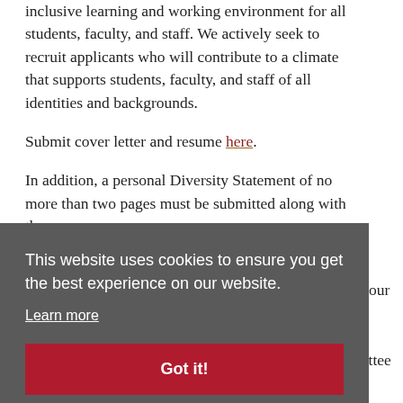inclusive learning and working environment for all students, faculty, and staff. We actively seek to recruit applicants who will contribute to a climate that supports students, faculty, and staff of all identities and backgrounds.
Submit cover letter and resume here.
In addition, a personal Diversity Statement of no more than two pages must be submitted along with the
This website uses cookies to ensure you get the best experience on our website.
Learn more
Got it!